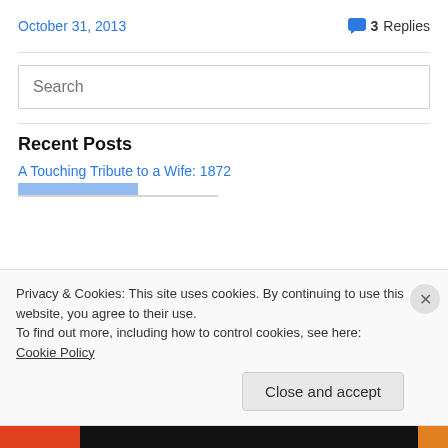October 31, 2013
3 Replies
Search
Recent Posts
A Touching Tribute to a Wife: 1872
Privacy & Cookies: This site uses cookies. By continuing to use this website, you agree to their use.
To find out more, including how to control cookies, see here: Cookie Policy
Close and accept